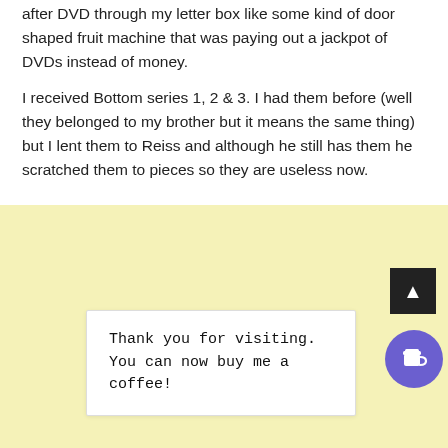after DVD through my letter box like some kind of door shaped fruit machine that was paying out a jackpot of DVDs instead of money.
I received Bottom series 1, 2 & 3. I had them before (well they belonged to my brother but it means the same thing) but I lent them to Reiss and although he still has them he scratched them to pieces so they are useless now.
Thank you for visiting. You can now buy me a coffee!
[Figure (other): Back to top button (dark square with upward arrow) and a purple circular coffee donation button with a coffee cup icon]